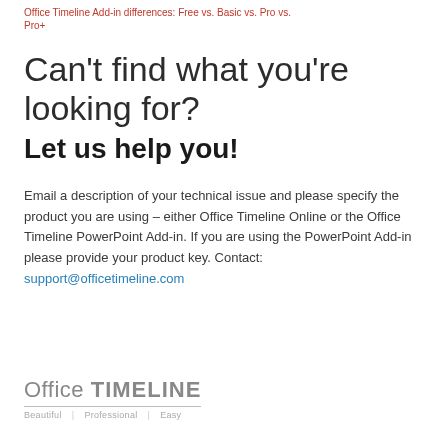Office Timeline Add-in differences: Free vs. Basic vs. Pro vs. Pro+
Can't find what you're looking for?
Let us help you!
Email a description of your technical issue and please specify the product you are using – either Office Timeline Online or the Office Timeline PowerPoint Add-in. If you are using the PowerPoint Add-in please provide your product key. Contact: support@officetimeline.com
[Figure (logo): Office TIMELINE logo with tagline: Beautiful | Professional | Easy]